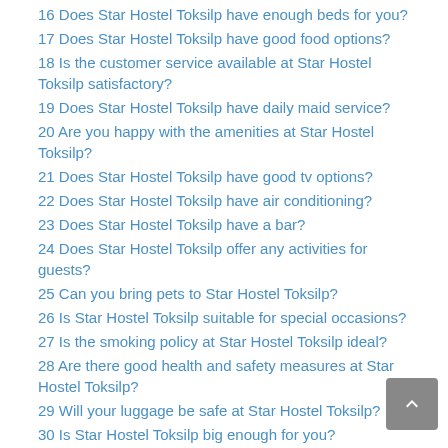16 Does Star Hostel Toksilp have enough beds for you?
17 Does Star Hostel Toksilp have good food options?
18 Is the customer service available at Star Hostel Toksilp satisfactory?
19 Does Star Hostel Toksilp have daily maid service?
20 Are you happy with the amenities at Star Hostel Toksilp?
21 Does Star Hostel Toksilp have good tv options?
22 Does Star Hostel Toksilp have air conditioning?
23 Does Star Hostel Toksilp have a bar?
24 Does Star Hostel Toksilp offer any activities for guests?
25 Can you bring pets to Star Hostel Toksilp?
26 Is Star Hostel Toksilp suitable for special occasions?
27 Is the smoking policy at Star Hostel Toksilp ideal?
28 Are there good health and safety measures at Star Hostel Toksilp?
29 Will your luggage be safe at Star Hostel Toksilp?
30 Is Star Hostel Toksilp big enough for you?